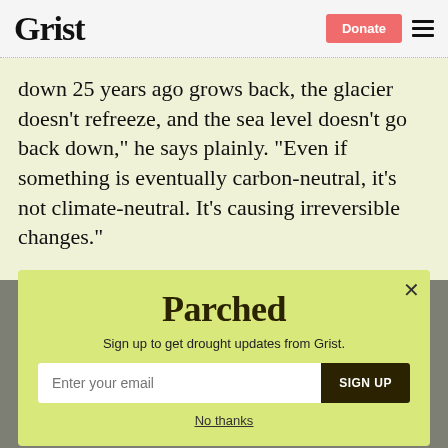Grist | Donate
down 25 years ago grows back, the glacier doesn’t refreeze, and the sea level doesn’t go back down,” he says plainly. “Even if something is eventually carbon-neutral, it’s not climate-neutral. It’s causing irreversible changes.”
[Figure (other): Parched newsletter signup modal with yellow-green background, 'Parched' logo, subtitle 'Sign up to get drought updates from Grist.', email input field, SIGN UP button, and 'No thanks' link. Close (X) button in top right corner.]